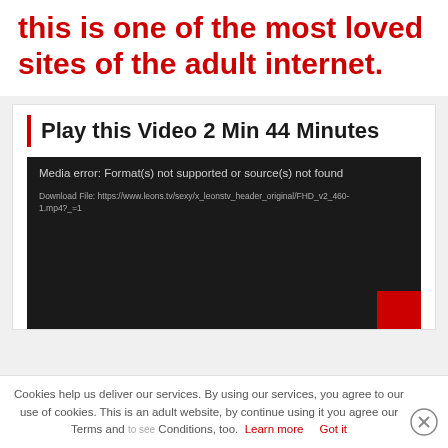this is one of the most loved sites of the adult internet.
Play this Video 2 Min 44 Minutes
[Figure (screenshot): Video player showing media error: Format(s) not supported or source(s) not found. Download File: https://www.leons.tv/sexy/x_leonstv_header_original/FHD_v2_460-1.mp4?_=1]
Cookies help us deliver our services. By using our services, you agree to our use of cookies. This is an adult website, by continue using it you agree our Terms and Conditions, too. Learn more  Got it